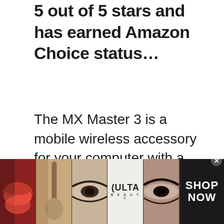5 out of 5 stars and has earned Amazon Choice status...
The MX Master 3 is a mobile wireless accessory for your computer with a rechargeable battery. It has three buttons on either side, and also includes a scroll wheel that can be used to scroll vertically, horizontally, and diagonally.
[Figure (other): Advertisement banner for Ulta Beauty showing makeup-related images (lips with brush, eye makeup, Ulta logo) with a SHOP NOW call-to-action button and close (x) button]